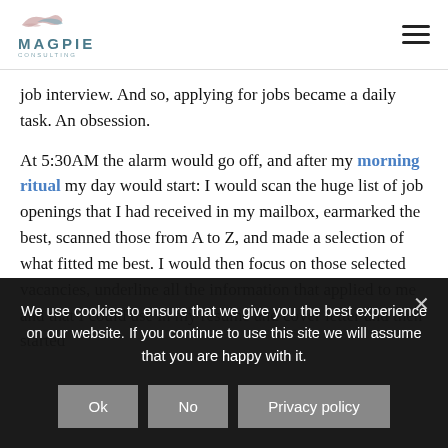MAGPIE CONSULTING
job interview. And so, applying for jobs became a daily task. An obsession.
At 5:30AM the alarm would go off, and after my morning ritual my day would start: I would scan the huge list of job openings that I had received in my mailbox, earmarked the best, scanned those from A to Z, and made a selection of what fitted me best. I would then focus on those selected vacancies, underline all the information that applied to me and that I could use in my resume and cover letter and then started
We use cookies to ensure that we give you the best experience on our website. If you continue to use this site we will assume that you are happy with it.
Ok | No | Privacy policy